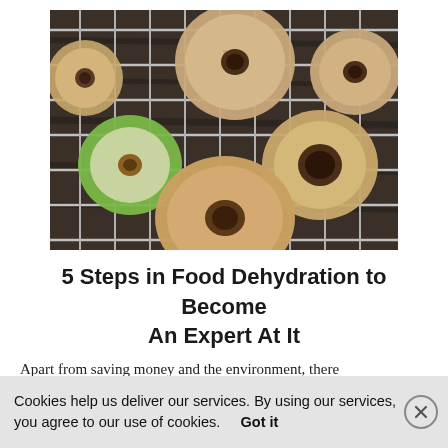[Figure (photo): Dried apple rings/slices arranged on a metal wire cooling rack. A green fresh apple slice is visible on the left side among several brown dehydrated apple rings on a dark wooden surface.]
5 Steps in Food Dehydration to Become An Expert At It
Apart from saving money and the environment, there
Cookies help us deliver our services. By using our services, you agree to our use of cookies.    Got it